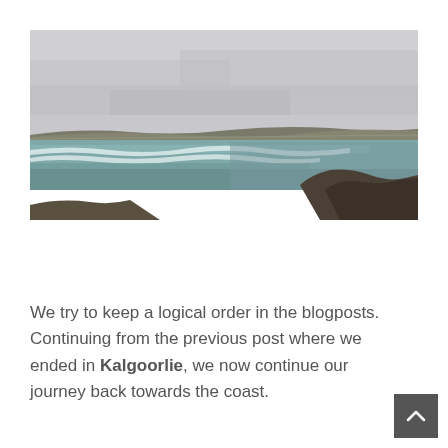[Figure (photo): Coastal landscape photograph showing a rocky shoreline with ocean waves, greenish-blue water, and an overcast grey sky. Rocky cliffs visible on the right side, low hills in the distance.]
We try to keep a logical order in the blogposts. Continuing from the previous post where we ended in Kalgoorlie, we now continue our journey back towards the coast.